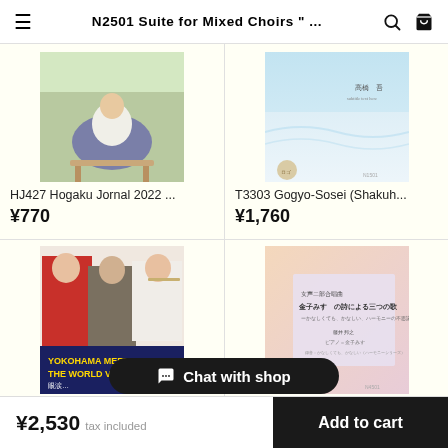N2501 Suite for Mixed Choirs " ...
[Figure (photo): Product image for HJ427 Hogaku Jornal 2022 - person sitting on bench in grass]
HJ427 Hogaku Jornal 2022 ...
¥770
[Figure (photo): Product image for T3303 Gogyo-Sosei - light blue cover with Japanese text]
T3303 Gogyo-Sosei (Shakuh...
¥1,760
[Figure (photo): Product image - Yokohama Meets the World Vol.3 with three people on cover]
[Figure (photo): Product image - sheet music cover with purple/pink gradient and Japanese text]
Chat with shop
¥2,530 tax included
Add to cart